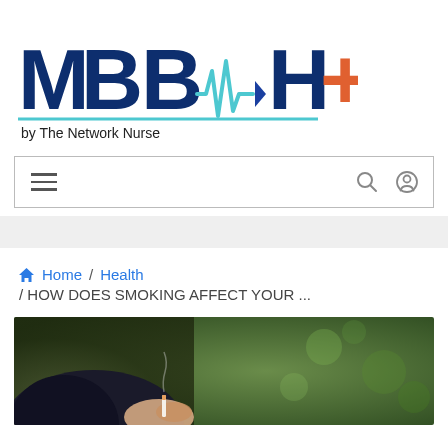[Figure (logo): MBBCH+ logo with heartbeat/EKG line graphic and 'by The Network Nurse' tagline]
[Figure (screenshot): Navigation bar with hamburger menu icon on left and search/user icons on right]
Home / Health / HOW DOES SMOKING AFFECT YOUR ...
[Figure (photo): Close-up photograph of a person holding a cigarette outdoors with blurred green background]